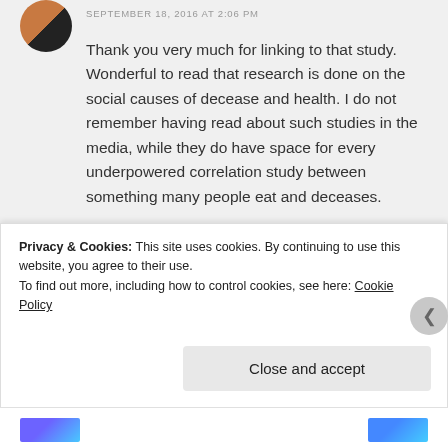SEPTEMBER 18, 2016 AT 2:06 PM
Thank you very much for linking to that study. Wonderful to read that research is done on the social causes of decease and health. I do not remember having read about such studies in the media, while they do have space for every underpowered correlation study between something many people eat and deceases.

There is no need to call investments by corporations “conspiracies.” They
Privacy & Cookies: This site uses cookies. By continuing to use this website, you agree to their use.
To find out more, including how to control cookies, see here: Cookie Policy
Close and accept